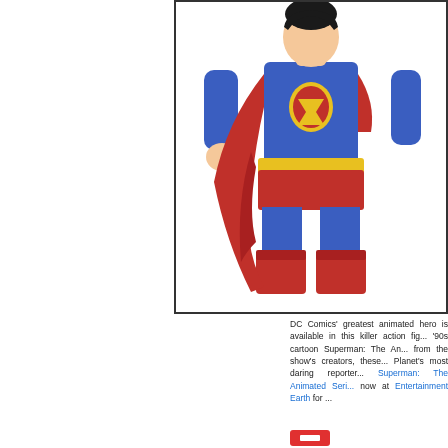[Figure (photo): Superman action figure in classic blue and red costume with yellow belt and red cape, photographed against white background inside a bordered box. The figure shows Superman from chest down to feet, in a standing pose.]
DC Comics' greatest animated hero is available in this killer action figure from the '90s cartoon Superman: The Animated Series. Approved from the show's creators, these figures put the Daily Planet's most daring reporter in your hands. Superman: The Animated Series action figures are available now at Entertainment Earth for ...